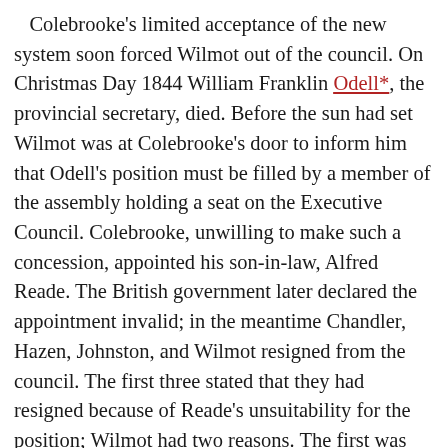Colebrooke's limited acceptance of the new system soon forced Wilmot out of the council. On Christmas Day 1844 William Franklin Odell*, the provincial secretary, died. Before the sun had set Wilmot was at Colebrooke's door to inform him that Odell's position must be filled by a member of the assembly holding a seat on the Executive Council. Colebrooke, unwilling to make such a concession, appointed his son-in-law, Alfred Reade. The British government later declared the appointment invalid; in the meantime Chandler, Hazen, Johnston, and Wilmot resigned from the council. The first three stated that they had resigned because of Reade's unsuitability for the position; Wilmot had two reasons. The first was “that all the offices of honour and emolument in the gift of the administration of the government should be bestowed upon the inhabitants of the province.” The second was that he supported British practices “which require the administration to be conducted by heads of departments responsible to the legislature . . . .” Colebrooke formed a new council and retained it